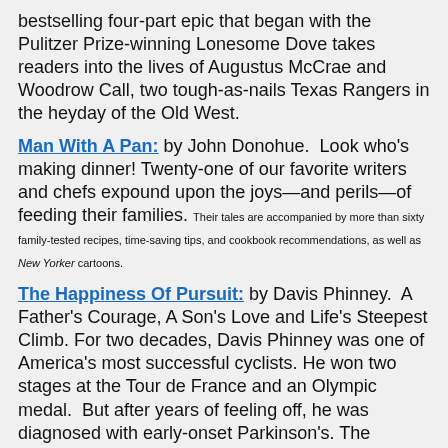bestselling four-part epic that began with the Pulitzer Prize-winning Lonesome Dove takes readers into the lives of Augustus McCrae and Woodrow Call, two tough-as-nails Texas Rangers in the heyday of the Old West.
Man With A Pan: by John Donohue. Look who's making dinner! Twenty-one of our favorite writers and chefs expound upon the joys—and perils—of feeding their families. Their tales are accompanied by more than sixty family-tested recipes, time-saving tips, and cookbook recommendations, as well as New Yorker cartoons.
The Happiness Of Pursuit: by Davis Phinney. A Father's Courage, A Son's Love and Life's Steepest Climb. For two decades, Davis Phinney was one of America's most successful cyclists. He won two stages at the Tour de France and an Olympic medal. But after years of feeling off, he was diagnosed with early-onset Parkinson's. The Happiness of Pursuit is a remarkable story of fathers and sons and bikes, of victories large and small.
previous post Thriller Thursday: American Assassin by Vince Flynn